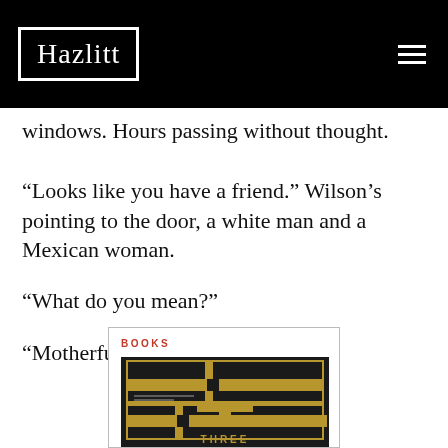Hazlitt
windows. Hours passing without thought.
“Looks like you have a friend.” Wilson’s pointing to the door, a white man and a Mexican woman.
“What do you mean?”
“Motherfucker’s as dainty as you.”
[Figure (illustration): Book card with BOOKS label in red and a book cover showing a maze-like pattern with the word THREE at the bottom, on a dark background with gold design elements.]